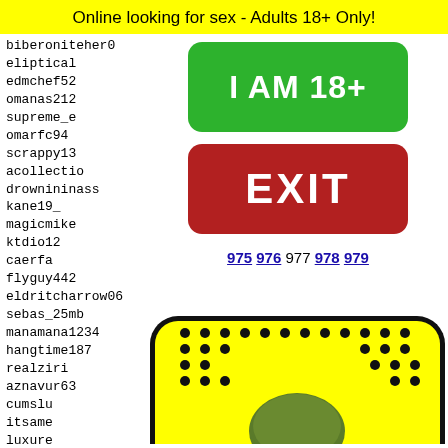Online looking for sex - Adults 18+ Only!
biberoniteher0
eliptical
edmchef52
omanas212
supreme_e
omarfc94
scrappy13
acollectio
drownininass
kane19_
magicmike
ktdio12
caerfa
flyguy442
eldritcharrow06
sebas_25mb
manamana1234
hangtime187
realziri
aznavur63
cumslu
itsame
luxure
fumer0
sebas_
freevi
[Figure (other): Green button with white bold text 'I AM 18+']
[Figure (other): Red button with white bold text 'EXIT']
975 976 977 978 979
[Figure (other): Snapchat ghost logo on yellow rounded rectangle background with black dots pattern]